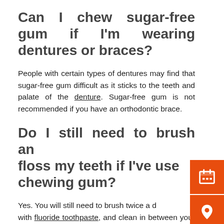Can I chew sugar-free gum if I'm wearing dentures or braces?
People with certain types of dentures may find that sugar-free gum difficult as it sticks to the teeth and palate of the denture. Sugar-free gum is not recommended if you have an orthodontic brace.
Do I still need to brush and floss my teeth if I've used chewing gum?
Yes. You will still need to brush twice a day with fluoride toothpaste, and clean in between your teeth with interdental brushes or floss at least once a day to keep your teeth and gums…